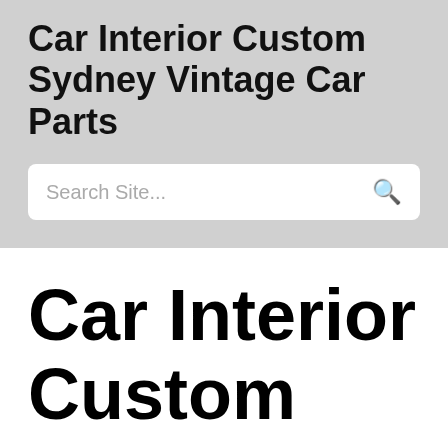Car Interior Custom Sydney Vintage Car Parts
Search Site...
Car Interior Custom